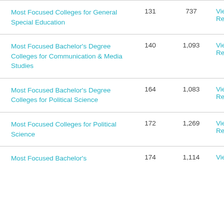| Report Name | Count1 | Count2 | Link |
| --- | --- | --- | --- |
| Most Focused Colleges for General Special Education | 131 | 737 | View Report |
| Most Focused Bachelor's Degree Colleges for Communication & Media Studies | 140 | 1,093 | View Report |
| Most Focused Bachelor's Degree Colleges for Political Science | 164 | 1,083 | View Report |
| Most Focused Colleges for Political Science | 172 | 1,269 | View Report |
| Most Focused Bachelor's | 174 | 1,114 | View |